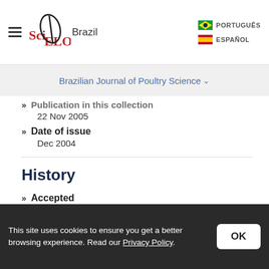SciELO Brazil | PORTUGUÊS | ESPAÑOL
Brazilian Journal of Poultry Science
Publication in this collection: 22 Nov 2005
Date of issue: Dec 2004
History
Accepted: Oct 2004
Received: Jan 2004
This site uses cookies to ensure you get a better browsing experience. Read our Privacy Policy.